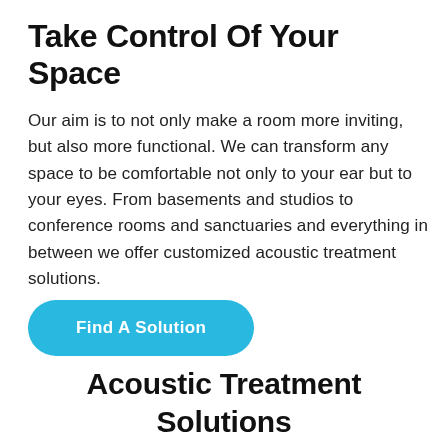Take Control Of Your Space
Our aim is to not only make a room more inviting, but also more functional. We can transform any space to be comfortable not only to your ear but to your eyes. From basements and studios to conference rooms and sanctuaries and everything in between we offer customized acoustic treatment solutions.
[Figure (other): A cyan/blue rounded button labeled 'Find A Solution']
Acoustic Treatment Solutions